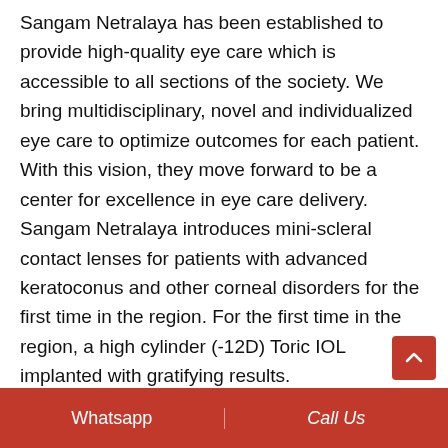Sangam Netralaya has been established to provide high-quality eye care which is accessible to all sections of the society. We bring multidisciplinary, novel and individualized eye care to optimize outcomes for each patient. With this vision, they move forward to be a center for excellence in eye care delivery. Sangam Netralaya introduces mini-scleral contact lenses for patients with advanced keratoconus and other corneal disorders for the first time in the region. For the first time in the region, a high cylinder (-12D) Toric IOL implanted with gratifying results.
Their services include:
Phaco stitchless surgery
Multifocal IOL IMPLANT (For both distance...
Whatsapp | Call Us